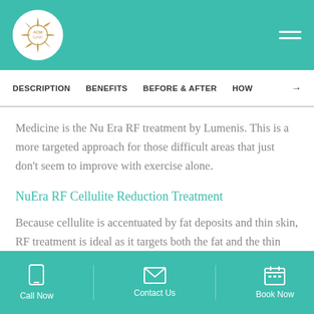ACM (logo) | hamburger menu
DESCRIPTION   BENEFITS   BEFORE & AFTER   HOW →
Medicine is the Nu Era RF treatment by Lumenis.  This is a more targeted approach for those difficult areas that just don't seem to improve with exercise alone.
NuEra RF Cellulite Reduction Treatment
Because cellulite is accentuated by fat deposits and thin skin, RF treatment is ideal as it targets both the fat and the thin skin, by encouraging collagen production.
Call Now   Contact Us   Book Now